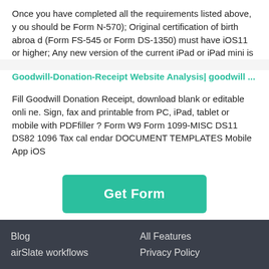Once you have completed all the requirements listed above, you should be Form N-570); Original certification of birth abroad (Form FS-545 or Form DS-1350) must have iOS11 or higher; Any new version of the current iPad or iPad mini is
Goodwill-Donation-Receipt Website Analysis| goodwill ...
Fill Goodwill Donation Receipt, download blank or editable online. Sign, fax and printable from PC, iPad, tablet or mobile with PDFfiller ? Form W9 Form 1099-MISC DS11 DS82 1096 Tax calendar DOCUMENT TEMPLATES Mobile App iOS
[Figure (other): Green 'Get Form' button]
Blog
airSlate workflows
All Features
Privacy Policy